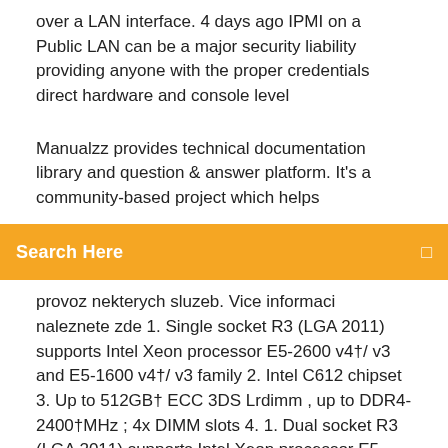over a LAN interface. 4 days ago IPMI on a Public LAN can be a major security liability providing anyone with the proper credentials direct hardware and console level
Manualzz provides technical documentation library and question & answer platform. It's a community-based project which helps
[Figure (other): Orange search bar with 'Search Here' text and a search icon on the right]
provoz nekterych sluzeb. Vice informaci naleznete zde 1. Single socket R3 (LGA 2011) supports Intel Xeon processor E5-2600 v4†/ v3 and E5-1600 v4†/ v3 family 2. Intel C612 chipset 3. Up to 512GB† ECC 3DS Lrdimm , up to DDR4- 2400†MHz ; 4x DIMM slots 4. 1. Dual socket R3 (LGA 2011) supports Intel Xeon processor E5-2600 v4†/ v3 family; QPI up to 9.6GT/s 2. Up to 2TB† ECC 3DS Lrdimm , up to DDR4- 2400†MHz ; 16x DIMM slots 3. Expansion slots: 1 PCI-E 3.0 x16 (LP) 1 PCI-E 3.0 x8 (Micro Low... ipmi_review_slides - Free download as PDF File (.pdf), Text File (.txt) or view presentation slides online. KKey